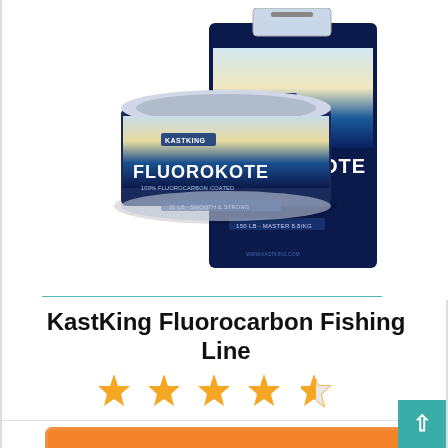[Figure (photo): KastKing FluoroKote fluorocarbon fishing line product — a round spool/tin and a box packaging, both labeled KASTKING FLUOROKOTE 100% Fluorocarbon Coated, shown together on white background]
KastKing Fluorocarbon Fishing Line
[Figure (other): 4.5 out of 5 stars rating — four full gold stars and one half gold star]
CHECK LATEST PRICE →